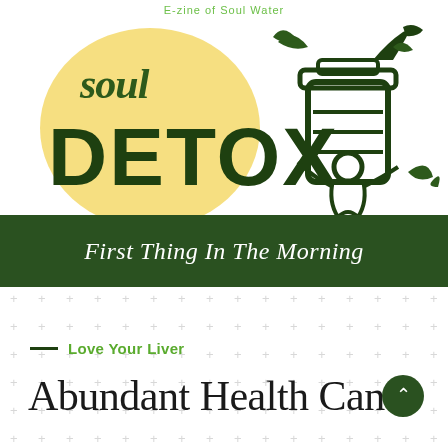E-zine of Soul Water
[Figure (illustration): Soul Detox wellness illustration with yellow sun circle, bold 'soul DETOX' lettering, and a hand-drawn figure holding a jar with leaves, on a white background with a dark green banner reading 'First Thing In The Morning']
Love Your Liver
Abundant Health Can